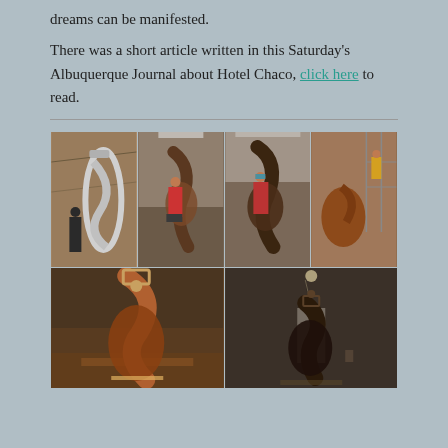dreams can be manifested.
There was a short article written in this Saturday’s Albuquerque Journal about Hotel Chaco, click here to read.
[Figure (photo): Six photos showing large sculptural artwork being installed at Hotel Chaco. Top row: four photos showing workers handling and installing a large abstract sculpture. Bottom row: two photos showing the completed sculpture installed in the hotel lobby.]